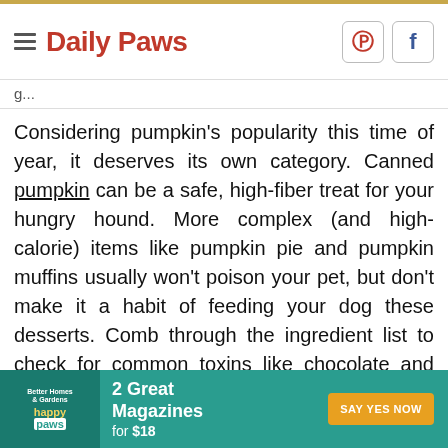Daily Paws
Considering pumpkin's popularity this time of year, it deserves its own category. Canned pumpkin can be a safe, high-fiber treat for your hungry hound. More complex (and high-calorie) items like pumpkin pie and pumpkin muffins usually won't poison your pet, but don't make it a habit of feeding your dog these desserts. Comb through the ingredient list to check for common toxins like chocolate and xylitol before you let your pet nearby while you're baking in case you drop
[Figure (screenshot): Advertisement banner for Better Homes & Gardens and Happy Paws magazines: '2 Great Magazines for $18' with a 'SAY YES NOW' call-to-action button on a teal background.]